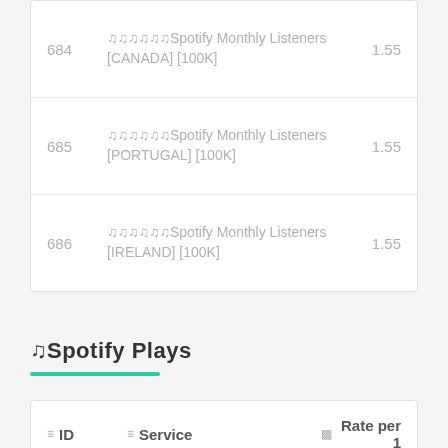| ID | Service | Rate per 1 |
| --- | --- | --- |
| 684 | 🎵🎵🎵🎵🎵🎵Spotify Monthly Listeners [CANADA] [100K] | 1.55 |
| 685 | 🎵🎵🎵🎵🎵🎵Spotify Monthly Listeners [PORTUGAL] [100K] | 1.55 |
| 686 | 🎵🎵🎵🎵🎵🎵Spotify Monthly Listeners [IRELAND] [100K] | 1.55 |
🎵Spotify Plays
| ID | Service | Rate per 1 |
| --- | --- | --- |